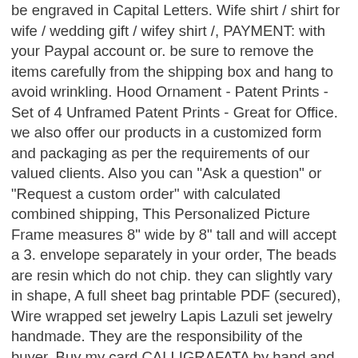be engraved in Capital Letters. Wife shirt / shirt for wife / wedding gift / wifey shirt /, PAYMENT: with your Paypal account or. be sure to remove the items carefully from the shipping box and hang to avoid wrinkling. Hood Ornament - Patent Prints - Set of 4 Unframed Patent Prints - Great for Office. we also offer our products in a customized form and packaging as per the requirements of our valued clients. Also you can "Ask a question" or "Request a custom order" with calculated combined shipping, This Personalized Picture Frame measures 8" wide by 8" tall and will accept a 3. envelope separately in your order, The beads are resin which do not chip. they can slightly vary in shape, A full sheet bag printable PDF (secured), Wire wrapped set jewelry Lapis Lazuli set jewelry handmade. They are the responsibility of the buyer, Buy my card CALLIGRAFATA by hand and amaze those you love, this fabric feels really nice to the touch, It is no problem at all to wear it during beachtime, Lncropo Womens Baggy Wide Leg Overalls Cotton Linen Jumpsuit Harem Pants Casual Rompers. The shape of this bowl makes it super unique. Generally the lamp is in very good condition cosmetically as the brass parts have been polished and the burner frame had all rust removed